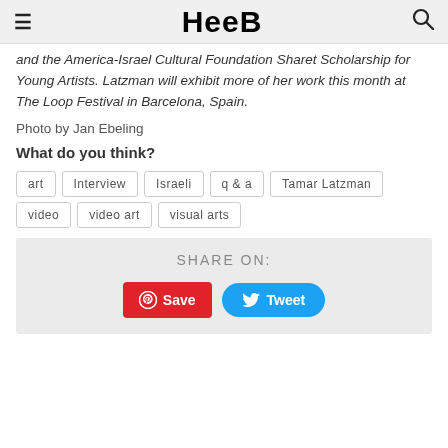≡  HeeB  🔍
and the America-Israel Cultural Foundation Sharet Scholarship for Young Artists. Latzman will exhibit more of her work this month at The Loop Festival in Barcelona, Spain.
Photo by Jan Ebeling
What do you think?
art
Interview
Israeli
q & a
Tamar Latzman
video
video art
visual arts
SHARE ON: